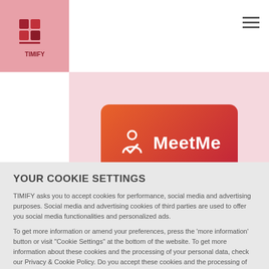[Figure (logo): TIMIFY logo - red/dark red T-shaped icon on pink/salmon background with TIMIFY text below]
[Figure (illustration): MeetMe app logo card - gradient red-orange rounded rectangle with white MeetMe icon and MeetMe text, displayed on pink background]
YOUR COOKIE SETTINGS
TIMIFY asks you to accept cookies for performance, social media and advertising purposes. Social media and advertising cookies of third parties are used to offer you social media functionalities and personalized ads.
To get more information or amend your preferences, press the 'more information' button or visit "Cookie Settings" at the bottom of the website. To get more information about these cookies and the processing of your personal data, check our Privacy & Cookie Policy. Do you accept these cookies and the processing of personal data involved?
YES, I ACCEPT
MORE INFORMATION